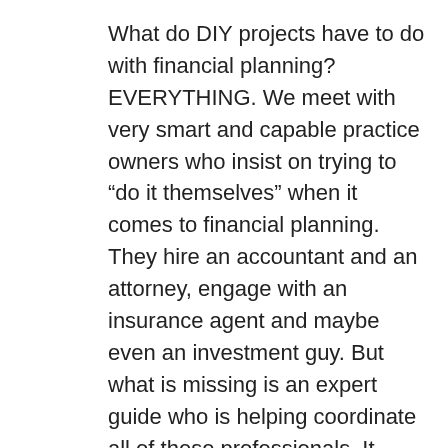What do DIY projects have to do with financial planning? EVERYTHING. We meet with very smart and capable practice owners who insist on trying to “do it themselves” when it comes to financial planning. They hire an accountant and an attorney, engage with an insurance agent and maybe even an investment guy. But what is missing is an expert guide who is helping coordinate all of these professionals. It would be an extremely large time investment to learn everything you need to know about all of the critical areas of personal finance, as well as coordinate all the professionals needed to get predictable, objective results. It would almost need to be your new career! Agreed? It’s not about ability, it’s about reality.
I’m talking to you. The DIY addict. The person who believes they can do it just as well, or better, for